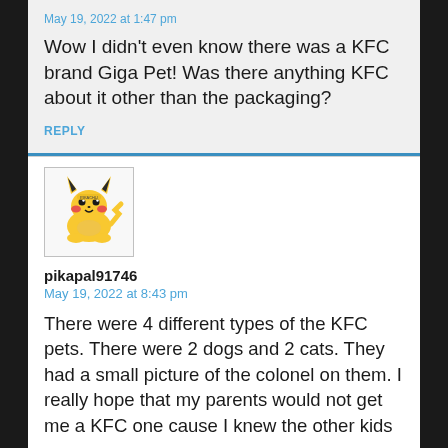May 19, 2022 at 1:47 pm
Wow I didn't even know there was a KFC brand Giga Pet! Was there anything KFC about it other than the packaging?
REPLY
[Figure (illustration): Pikachu avatar image - yellow cartoon Pikachu character]
pikapal91746
May 19, 2022 at 8:43 pm
There were 4 different types of the KFC pets. There were 2 dogs and 2 cats. They had a small picture of the colonel on them. I really hope that my parents would not get me a KFC one cause I knew the other kids